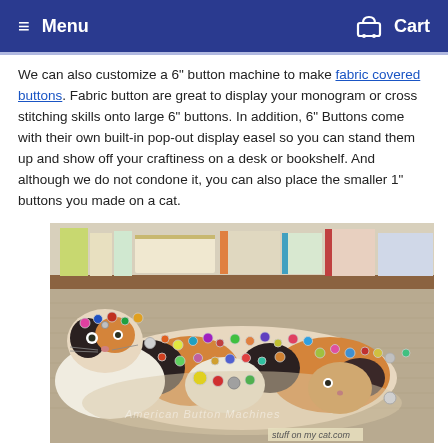Menu  Cart
We can also customize a 6" button machine to make fabric covered buttons. Fabric button are great to display your monogram or cross stitching skills onto large 6" buttons. In addition, 6" Buttons come with their own built-in pop-out display easel so you can stand them up and show off your craftiness on a desk or bookshelf. And although we do not condone it, you can also place the smaller 1" buttons you made on a cat.
[Figure (photo): A cat lying on the floor covered in many small decorative buttons pinned to its fur. The image has a watermark reading 'American Button Machines' and a label 'stuff on my cat.com' at the bottom.]